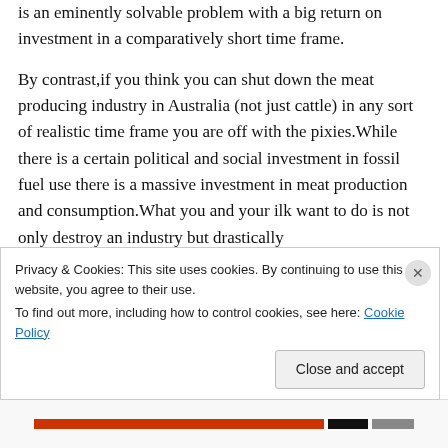is an eminently solvable problem with a big return on investment in a comparatively short time frame.
By contrast,if you think you can shut down the meat producing industry in Australia (not just cattle) in any sort of realistic time frame you are off with the pixies.While there is a certain political and social investment in fossil fuel use there is a massive investment in meat production and consumption.What you and your ilk want to do is not only destroy an industry but drastically
Privacy & Cookies: This site uses cookies. By continuing to use this website, you agree to their use.
To find out more, including how to control cookies, see here: Cookie Policy
Close and accept